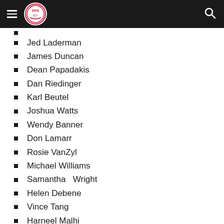[Navigation header with logo and search]
Jed Laderman
James Duncan
Dean Papadakis
Dan Riedinger
Karl Beutel
Joshua Watts
Wendy Banner
Don Lamarr
Rosie VanZyl
Michael Williams
Samantha   Wright
Helen Debene
Vince Tang
Harneel Malhi
Crissy Kelley
Pam King